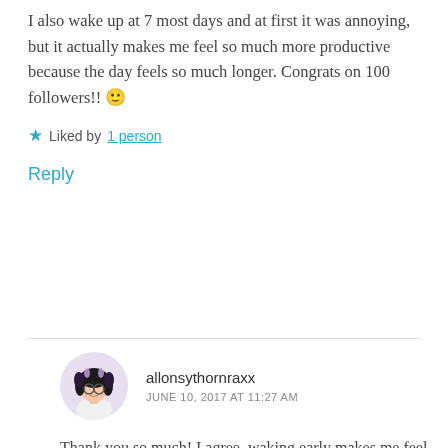I also wake up at 7 most days and at first it was annoying, but it actually makes me feel so much more productive because the day feels so much longer. Congrats on 100 followers!! 🙂
★ Liked by 1 person
Reply
allonsythornraxx
JUNE 10, 2017 AT 11:27 AM
Thank you so much! I agree, waking early makes me feel so productive!